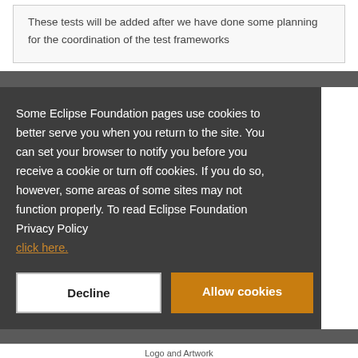These tests will be added after we have done some planning for the coordination of the test frameworks
Some Eclipse Foundation pages use cookies to better serve you when you return to the site. You can set your browser to notify you before you receive a cookie or turn off cookies. If you do so, however, some areas of some sites may not function properly. To read Eclipse Foundation Privacy Policy click here.
Decline
Allow cookies
Logo and Artwork